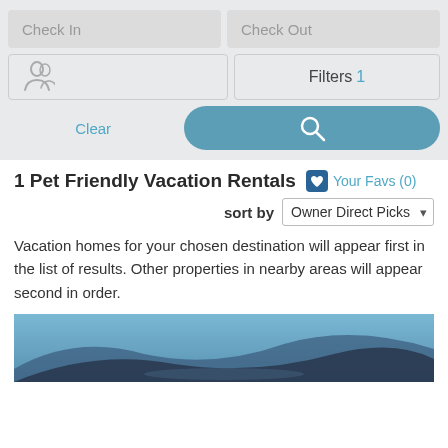[Figure (screenshot): Search panel with Check In, Check Out, Guests, Filters inputs, Clear and Search buttons]
1 Pet Friendly Vacation Rentals
Your Favs (0)
sort by Owner Direct Picks
Vacation homes for your chosen destination will appear first in the list of results. Other properties in nearby areas will appear second in order.
[Figure (photo): Aerial landscape photo showing blue mountain ridges and a lake or valley below]